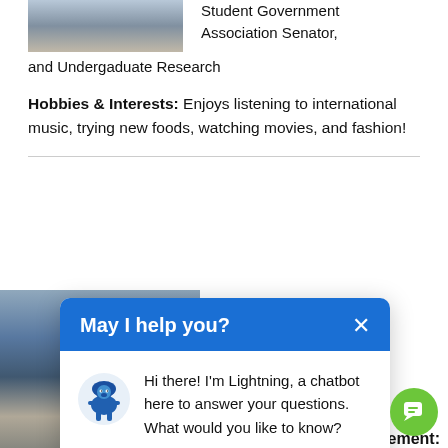[Figure (photo): Partial photo of a person outdoors, cropped at top]
Student Government Association Senator, and Undergaduate Research
Hobbies & Interests: Enjoys listening to international music, trying new foods, watching movies, and fashion!
[Figure (photo): Photo of Corin Bischoff outdoors]
Corin Bischoff
Pre-
[Figure (screenshot): Chatbot popup overlay with header 'May I help you?' and message from Lightning chatbot: 'Hi there! I'm Lightning, a chatbot here to answer your questions. What would you like to know?']
Campus Involvement: